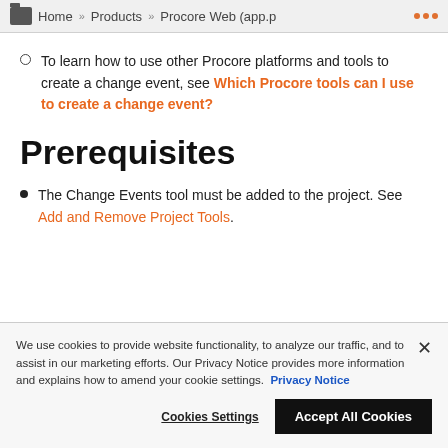Home » Products » Procore Web (app.p ...
To learn how to use other Procore platforms and tools to create a change event, see Which Procore tools can I use to create a change event?
Prerequisites
The Change Events tool must be added to the project. See Add and Remove Project Tools.
We use cookies to provide website functionality, to analyze our traffic, and to assist in our marketing efforts. Our Privacy Notice provides more information and explains how to amend your cookie settings. Privacy Notice
Cookies Settings | Accept All Cookies